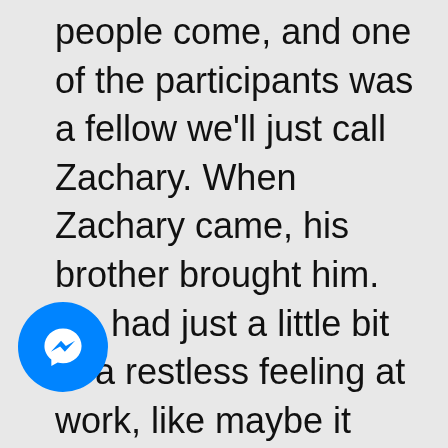people come, and one of the participants was a fellow we'll just call Zachary. When Zachary came, his brother brought him. He had just a little bit of a restless feeling at work, like maybe it wasn't exactly as fulfilling as he hoped it would be. He was very successful financially, had a spouse and several kids. The family life was
[Figure (logo): Facebook Messenger app icon — blue circle with white lightning-bolt chat bubble]